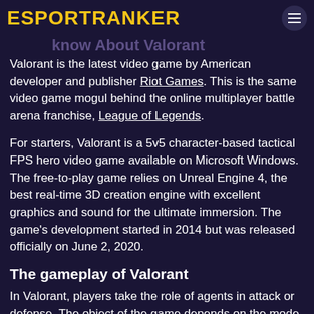ESPORTRANKER
know About Valorant
Valorant is the latest video game by American developer and publisher Riot Games. This is the same video game mogul behind the online multiplayer battle arena franchise, League of Legends.
For starters, Valorant is a 5v5 character-based tactical FPS hero video game available on Microsoft Windows. The free-to-play game relies on Unreal Engine 4, the best real-time 3D creation engine with excellent graphics and sound for the ultimate immersion. The game's development started in 2014 but was released officially on June 2, 2020.
The gameplay of Valorant
In Valorant, players take the role of agents in attack or defense. The object of the game depends on the mode. At the moment, this FPS has seven modes: